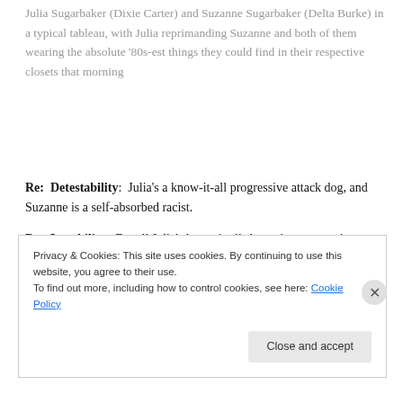Julia Sugarbaker (Dixie Carter) and Suzanne Sugarbaker (Delta Burke) in a typical tableau, with Julia reprimanding Suzanne and both of them wearing the absolute '80s-est things they could find in their respective closets that morning
Re: Detestability: Julia's a know-it-all progressive attack dog, and Suzanne is a self-absorbed racist.
Re: Lovability: For all Julia's know-it-all shenanigans, once in a while, she goes on a tirade that's spot on, and even when it's not, it's so eloquent and passionately delivered. Also, she has a lovely soprano singing voice.
Privacy & Cookies: This site uses cookies. By continuing to use this website, you agree to their use. To find out more, including how to control cookies, see here: Cookie Policy